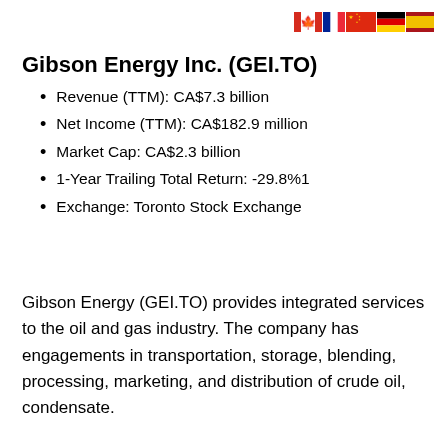[Figure (illustration): Row of country flag icons: Canada, France, China, Germany, Spain]
Gibson Energy Inc. (GEI.TO)
Revenue (TTM): CA$7.3 billion
Net Income (TTM): CA$182.9 million
Market Cap: CA$2.3 billion
1-Year Trailing Total Return: -29.8%1
Exchange: Toronto Stock Exchange
Gibson Energy (GEI.TO) provides integrated services to the oil and gas industry. The company has engagements in transportation, storage, blending, processing, marketing, and distribution of crude oil, condensate.